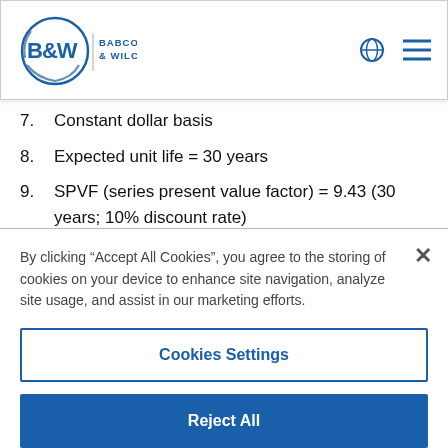[Figure (logo): Babcock & Wilcox logo with B&W circular emblem and company name]
7. Constant dollar basis
8. Expected unit life = 30 years
9. SPVF (series present value factor) = 9.43 (30 years; 10% discount rate)
By clicking “Accept All Cookies”, you agree to the storing of cookies on your device to enhance site navigation, analyze site usage, and assist in our marketing efforts.
Cookies Settings
Reject All
Accept All Cookies